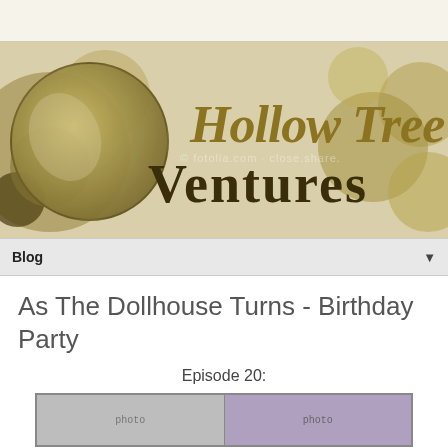[Figure (logo): Hollow Tree Ventures logo banner with gold decorative circles and stylized script text reading 'Hollow Tree Ventures' on a beige/tan background]
Blog ▼
As The Dollhouse Turns - Birthday Party
Episode 20:
[Figure (photo): Partially visible image strip showing two photo thumbnails at the bottom of the page]